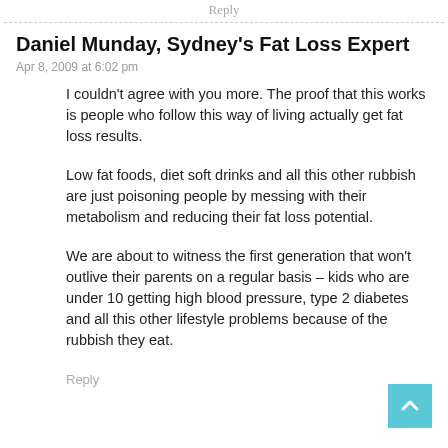Reply
Daniel Munday, Sydney's Fat Loss Expert
Apr 8, 2009 at 6:02 pm
I couldn't agree with you more. The proof that this works is people who follow this way of living actually get fat loss results.
Low fat foods, diet soft drinks and all this other rubbish are just poisoning people by messing with their metabolism and reducing their fat loss potential.
We are about to witness the first generation that won't outlive their parents on a regular basis – kids who are under 10 getting high blood pressure, type 2 diabetes and all this other lifestyle problems because of the rubbish they eat.
Reply